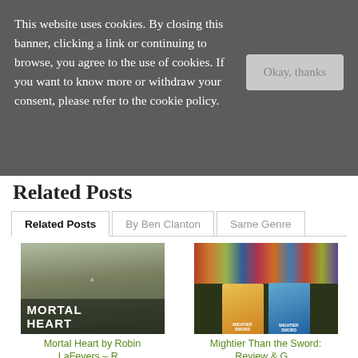This website uses cookies. By closing this banner, clicking a link or continuing to browse, you agree to the use of cookies. If you want to know more or withdraw your consent, please refer to the cookie policy.
Related Posts
Related Posts | By Ben Clanton | Same Genre
[Figure (photo): Book cover of Mortal Heart by Robin LaFevers showing a woman in dark green dress holding arrows against a cloudy sky with a castle in background]
Mortal Heart by Robin LaFevers – R...
[Figure (photo): Photo of books on a shelf including Mightier Than the Sword books]
Mightier Than the Sword: Review & G...